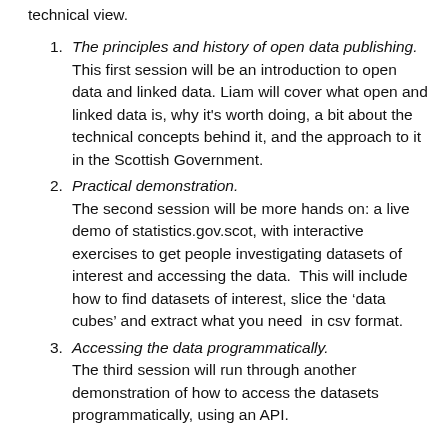technical view.
The principles and history of open data publishing. This first session will be an introduction to open data and linked data. Liam will cover what open and linked data is, why it's worth doing, a bit about the technical concepts behind it, and the approach to it in the Scottish Government.
Practical demonstration. The second session will be more hands on: a live demo of statistics.gov.scot, with interactive exercises to get people investigating datasets of interest and accessing the data. This will include how to find datasets of interest, slice the 'data cubes' and extract what you need in csv format.
Accessing the data programmatically. The third session will run through another demonstration of how to access the datasets programmatically, using an API.